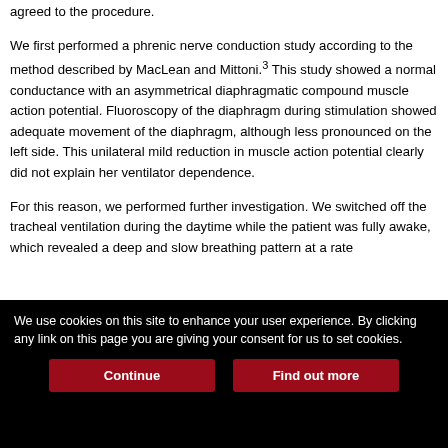agreed to the procedure.
We first performed a phrenic nerve conduction study according to the method described by MacLean and Mittoni.3 This study showed a normal conductance with an asymmetrical diaphragmatic compound muscle action potential. Fluoroscopy of the diaphragm during stimulation showed adequate movement of the diaphragm, although less pronounced on the left side. This unilateral mild reduction in muscle action potential clearly did not explain her ventilator dependence.
For this reason, we performed further investigation. We switched off the tracheal ventilation during the daytime while the patient was fully awake, which revealed a deep and slow breathing pattern at a rate
We use cookies on this site to enhance your user experience. By clicking any link on this page you are giving your consent for us to set cookies.